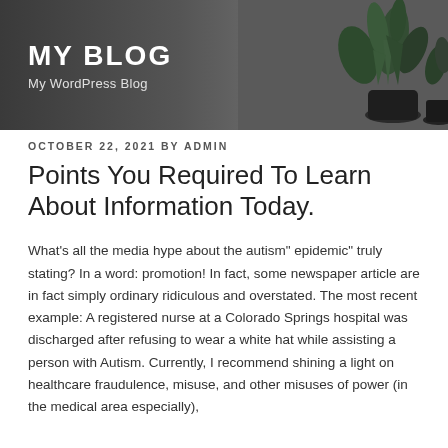MY BLOG
My WordPress Blog
OCTOBER 22, 2021 BY ADMIN
Points You Required To Learn About Information Today.
What's all the media hype about the autism" epidemic" truly stating? In a word: promotion! In fact, some newspaper article are in fact simply ordinary ridiculous and overstated. The most recent example: A registered nurse at a Colorado Springs hospital was discharged after refusing to wear a white hat while assisting a person with Autism. Currently, I recommend shining a light on healthcare fraudulence, misuse, and other misuses of power (in the medical area especially),